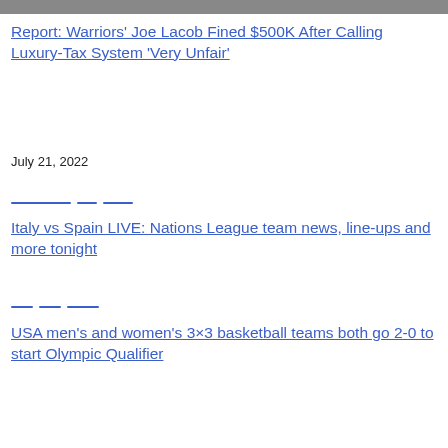[Figure (photo): Partial top strip of an image, cropped]
Report: Warriors' Joe Lacob Fined $500K After Calling Luxury-Tax System 'Very Unfair'
July 21, 2022
Italy vs Spain LIVE: Nations League team news, line-ups and more tonight
USA men's and women's 3×3 basketball teams both go 2-0 to start Olympic Qualifier